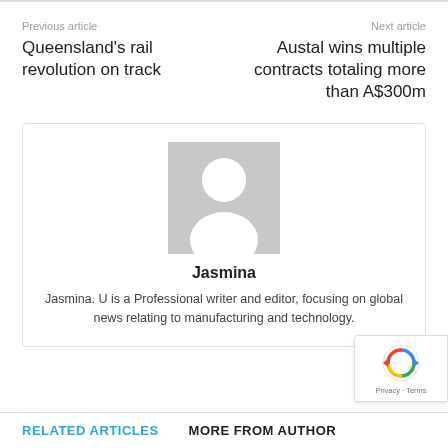Previous article
Next article
Queensland's rail revolution on track
Austal wins multiple contracts totaling more than A$300m
[Figure (illustration): Generic user avatar placeholder — grey square with white silhouette of a person (head circle and torso shape)]
Jasmina
Jasmina. U is a Professional writer and editor, focusing on global news relating to manufacturing and technology.
[Figure (logo): reCAPTCHA badge with spinning arrows logo and 'Privacy - Terms' text]
RELATED ARTICLES
MORE FROM AUTHOR